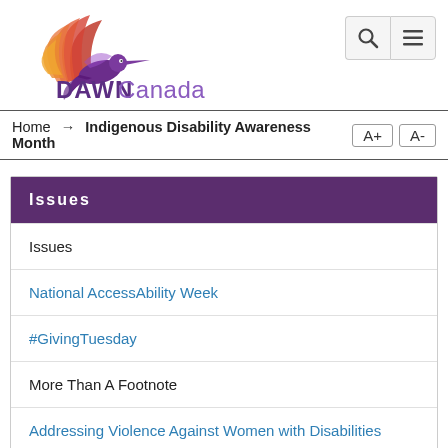[Figure (logo): DAWN Canada logo with hummingbird and feather motif in red, orange, and purple gradient]
Home → Indigenous Disability Awareness Month
Issues
Issues
National AccessAbility Week
#GivingTuesday
More Than A Footnote
Addressing Violence Against Women with Disabilities
Save Canada Post